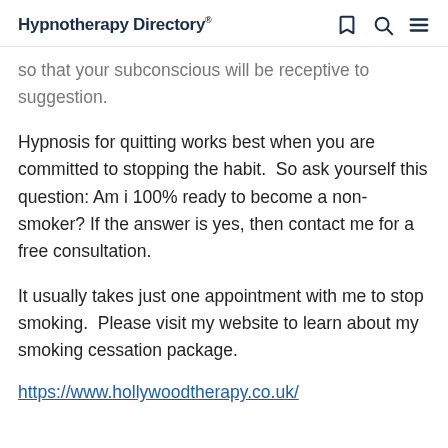Hypnotherapy Directory
so that your subconscious will be receptive to suggestion.
Hypnosis for quitting works best when you are committed to stopping the habit.  So ask yourself this question: Am i 100% ready to become a non-smoker? If the answer is yes, then contact me for a free consultation.
It usually takes just one appointment with me to stop smoking.  Please visit my website to learn about my smoking cessation package.
https://www.hollywoodtherapy.co.uk/